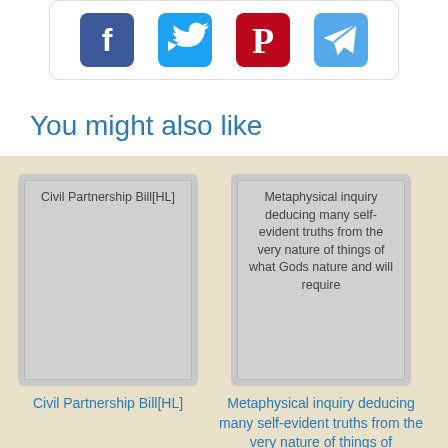[Figure (infographic): Social media share buttons: Facebook (blue), Twitter (teal), Pinterest (red), Telegram (light blue) inside a rounded box]
You might also like
[Figure (illustration): Book cover placeholder card for Civil Partnership Bill[HL]]
Civil Partnership Bill[HL]
[Figure (illustration): Book cover placeholder card for Metaphysical inquiry deducing many self-evident truths from the very nature of things of what Gods nature and will require]
Metaphysical inquiry deducing many self-evident truths from the very nature of things of